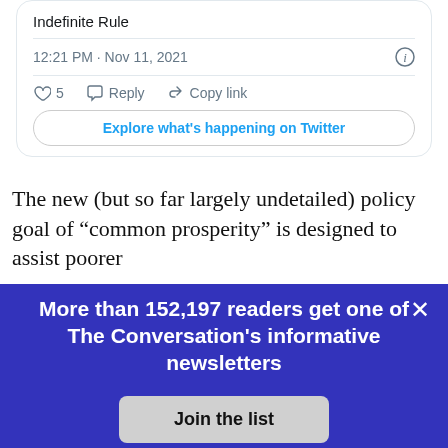[Figure (screenshot): Twitter/X embedded tweet card showing 'Indefinite Rule' tweet text, timestamp 12:21 PM · Nov 11, 2021, with like count 5, Reply, Copy link actions, and 'Explore what's happening on Twitter' button]
The new (but so far largely undetailed) policy goal of “common prosperity” is designed to assist poorer
[Figure (screenshot): Newsletter subscription popup overlay with dark blue/indigo background, close X button, text 'More than 152,197 readers get one of The Conversation’s informative newsletters', and a 'Join the list' button]